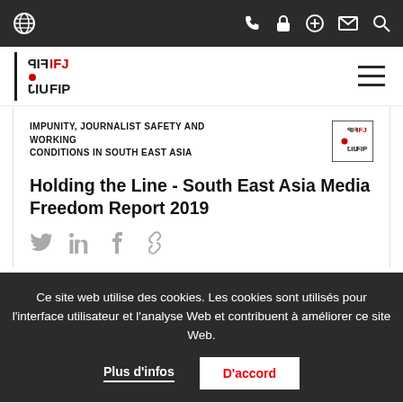IFJ website navigation bar with globe icon, phone, lock, plus, mail, and search icons
[Figure (logo): IFJ / FIP / UIJ logo in black and red, stacked letters with red dot]
IMPUNITY, JOURNALIST SAFETY AND WORKING CONDITIONS IN SOUTH EAST ASIA
Holding the Line - South East Asia Media Freedom Report 2019
Social share icons: Twitter, LinkedIn, Facebook, link
Ce site web utilise des cookies. Les cookies sont utilisés pour l'interface utilisateur et l'analyse Web et contribuent à améliorer ce site Web.
Plus d'infos | D'accord